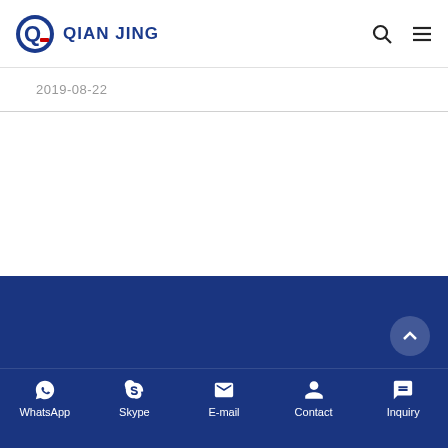QIAN JING
2019-08-22
WhatsApp  Skype  E-mail  Contact  Inquiry